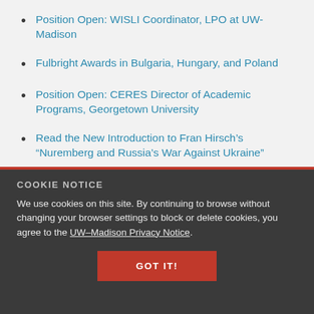Position Open: WISLI Coordinator, LPO at UW-Madison
Fulbright Awards in Bulgaria, Hungary, and Poland
Position Open: CERES Director of Academic Programs, Georgetown University
Read the New Introduction to Fran Hirsch’s “Nuremberg and Russia’s War Against Ukraine”
COOKIE NOTICE
We use cookies on this site. By continuing to browse without changing your browser settings to block or delete cookies, you agree to the UW–Madison Privacy Notice.
GOT IT!